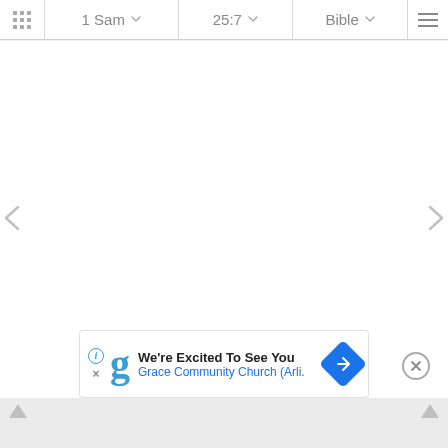1 Sam  25:7  Bible
[Figure (screenshot): Bible app screenshot showing navigation bar with book selector (1 Sam), chapter/verse selector (25:7), and Bible translation selector. Main content area is blank/white. Left and right navigation arrows on sides. Advertisement banner at bottom showing 'We're Excited To See You — Grace Community Church (Arli.' with a Google Maps-style direction icon.]